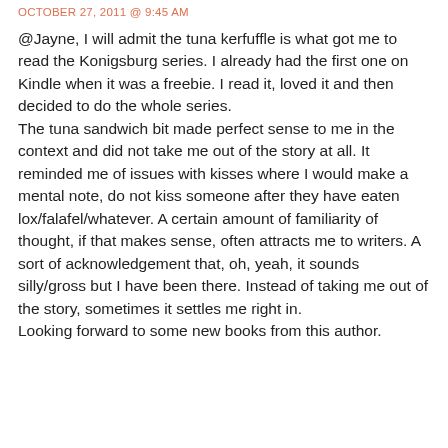OCTOBER 27, 2011 @ 9:45 AM
@Jayne, I will admit the tuna kerfuffle is what got me to read the Konigsburg series. I already had the first one on Kindle when it was a freebie. I read it, loved it and then decided to do the whole series.
The tuna sandwich bit made perfect sense to me in the context and did not take me out of the story at all. It reminded me of issues with kisses where I would make a mental note, do not kiss someone after they have eaten lox/falafel/whatever. A certain amount of familiarity of thought, if that makes sense, often attracts me to writers. A sort of acknowledgement that, oh, yeah, it sounds silly/gross but I have been there. Instead of taking me out of the story, sometimes it settles me right in.
Looking forward to some new books from this author.